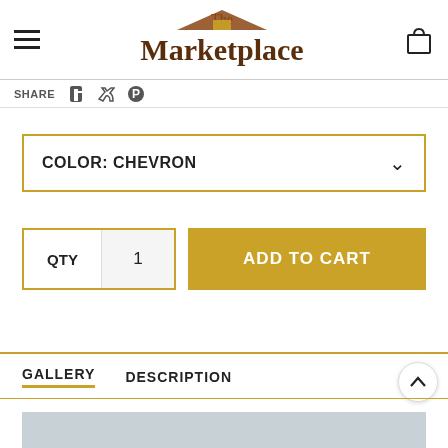The Marketplace
SHARE
COLOR: CHEVRON
QTY  1
ADD TO CART
GALLERY   DESCRIPTION